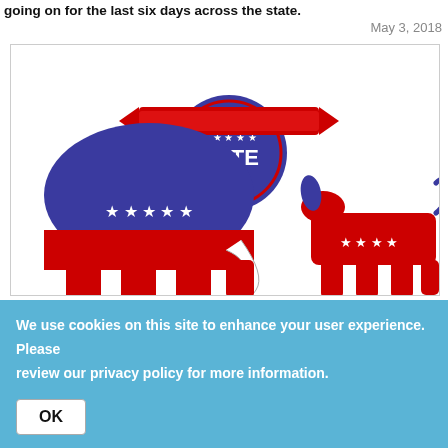going on for the last six days across the state.
May 3, 2018
[Figure (illustration): Political illustration showing the Republican elephant (blue body with white stars, red legs and trunk) and Democrat donkey (red body with white stars, blue ear and tail) with a red, white and blue 'VOTE' button/badge between them.]
Major Change Coming For Independent Voters In Phoenix
We use cookies on this site to enhance your user experience. Please review our privacy policy for more information.
OK